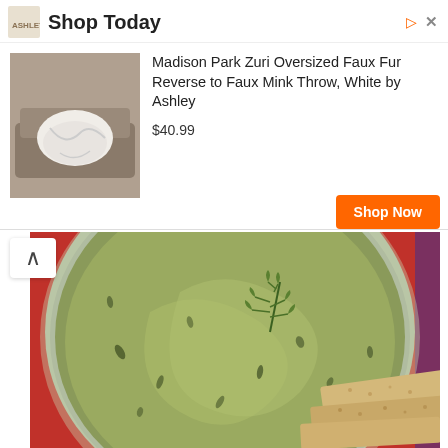[Figure (screenshot): Advertisement banner: Shop Today - Ashley. Product: Madison Park Zuri Oversized Faux Fur Reverse to Faux Mink Throw, White by Ashley. Price $40.99. Shop Now button in orange. Product thumbnail shows a white throw blanket on a sofa.]
[Figure (photo): Overhead photo of a light green bowl filled with avocado hummus/dip garnished with a sprig of fresh dill, placed on a red surface. Seed crackers/flatbreads are visible in the lower right.]